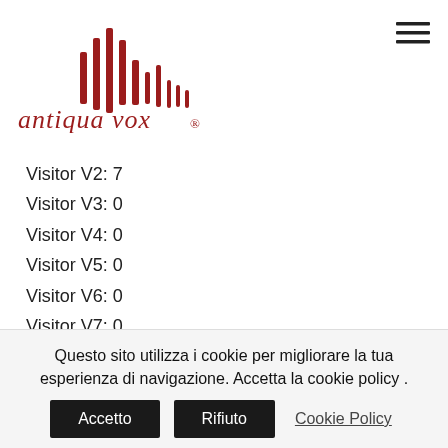[Figure (logo): Antiqua Vox logo with red sound wave bars and italic red text 'antiqua vox ®']
Visitor V2: 7
Visitor V3: 0
Visitor V4: 0
Visitor V5: 0
Visitor V6: 0
Visitor V7: 0
Visitor V8: 0Pristimantis alcoventris
Pristimantis alcoventris (common name: lightly scaled robber frog, white-lipped robber frog or
Questo sito utilizza i cookie per migliorare la tua esperienza di navigazione. Accetta la cookie policy .
Accetto  Rifiuto  Cookie Policy